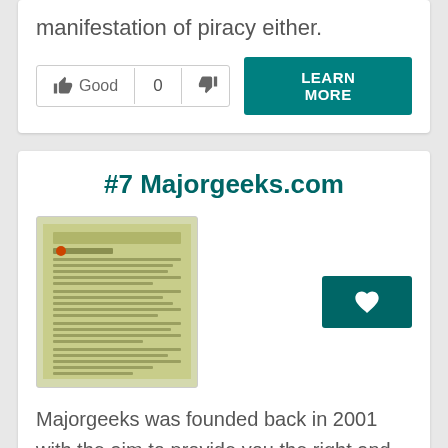manifestation of piracy either.
[Figure (screenshot): Vote buttons: thumbs up Good, count 0, thumbs down, and a teal LEARN MORE button]
#7 Majorgeeks.com
[Figure (screenshot): Screenshot thumbnail of Majorgeeks.com website with a teal favorite/heart button]
Majorgeeks was founded back in 2001 with the aim to provide you the right and top listed software and apps to download. Majorgeeks